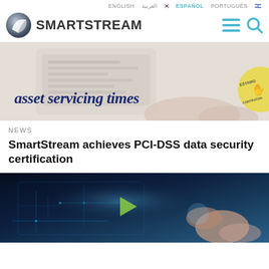ENGLISH  العربية  [ko]  ESPAÑOL  PORTUGUÊS  [zh]
[Figure (logo): SmartStream logo with globe icon and hamburger/search navigation icons]
[Figure (photo): Asset Servicing Times banner image showing hands using a tablet device with 'asset servicing times' text overlay and a circular 'ESTAMO CONTRATAN' badge on the right]
NEWS
SmartStream achieves PCI-DSS data security certification
[Figure (photo): Dark blue technology image showing a finger touching a glowing digital interface/tablet screen with circuit board graphics]